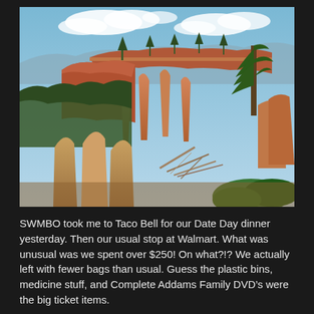[Figure (photo): Landscape photo of Bryce Canyon National Park showing red rock hoodoos, pine trees, and a dramatic canyon vista under a blue sky with white clouds.]
SWMBO took me to Taco Bell for our Date Day dinner yesterday. Then our usual stop at Walmart. What was unusual was we spent over $250! On what?!? We actually left with fewer bags than usual. Guess the plastic bins, medicine stuff, and Complete Addams Family DVD's were the big ticket items.